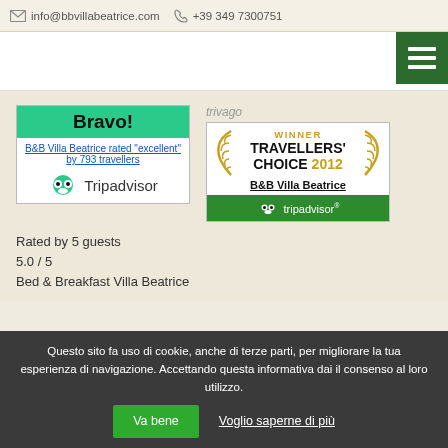info@bbvillabeatrice.com  +39 349 7300751
[Figure (logo): Hamburger menu button (green background with three white horizontal lines)]
[Figure (logo): TripAdvisor Bravo badge: 'Bravo! B&B Villa Beatrice rated "excellent" by 793 travellers' with TripAdvisor owl logo]
trivago
[Figure (logo): Trivago / TripAdvisor Winner Travellers' Choice 2012 badge for B&B Villa Beatrice]
Rated by 5 guests
5.0 / 5
Bed & Breakfast Villa Beatrice
Questo sito fa uso di cookie, anche di terze parti, per migliorare la tua esperienza di navigazione. Accettando questa informativa dai il consenso al loro utilizzo.
Va bene
Voglio saperne di più